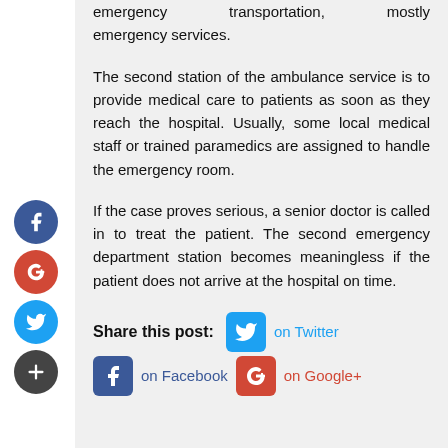emergency transportation, mostly emergency services.
The second station of the ambulance service is to provide medical care to patients as soon as they reach the hospital. Usually, some local medical staff or trained paramedics are assigned to handle the emergency room.
If the case proves serious, a senior doctor is called in to treat the patient. The second emergency department station becomes meaningless if the patient does not arrive at the hospital on time.
Share this post: on Twitter on Facebook on Google+